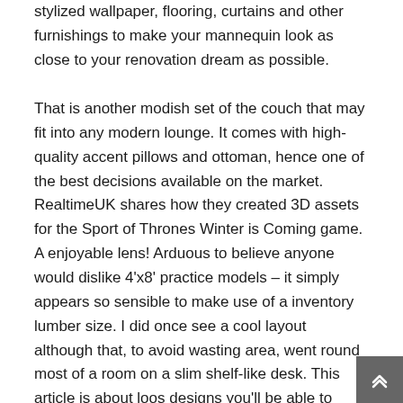stylized wallpaper, flooring, curtains and other furnishings to make your mannequin look as close to your renovation dream as possible.
That is another modish set of the couch that may fit into any modern lounge. It comes with high-quality accent pillows and ottoman, hence one of the best decisions available on the market. RealtimeUK shares how they created 3D assets for the Sport of Thrones Winter is Coming game. A enjoyable lens! Arduous to believe anyone would dislike 4'x8' practice models – it simply appears so sensible to make use of a inventory lumber size. I did once see a cool layout although that, to avoid wasting area, went round most of a room on a slim shelf-like desk. This article is about loos designs you'll be able to create with such easy to make use of applications.